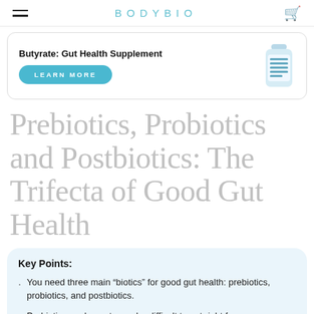BODYBIO
[Figure (infographic): Advertisement banner for Butyrate: Gut Health Supplement with a supplement bottle image and a 'LEARN MORE' button]
Prebiotics, Probiotics and Postbiotics: The Trifecta of Good Gut Health
Key Points:
You need three main “biotics” for good gut health: prebiotics, probiotics, and postbiotics.
Probiotic supplements can be difficult to get right for your individual microbiome, and they often